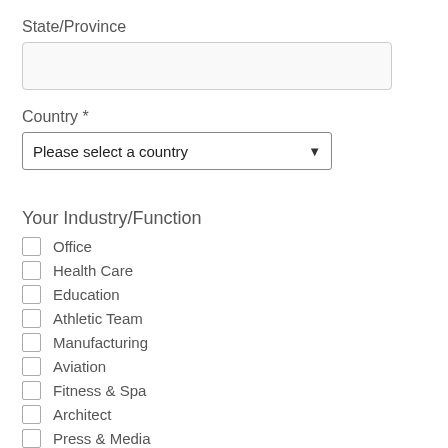State/Province
Country *
Please select a country
Your Industry/Function
Office
Health Care
Education
Athletic Team
Manufacturing
Aviation
Fitness & Spa
Architect
Press & Media
Student